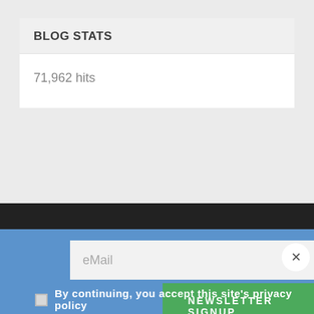BLOG STATS
71,962 hits
eMail
NEWSLETTER SIGNUP
By continuing, you accept this site's privacy policy